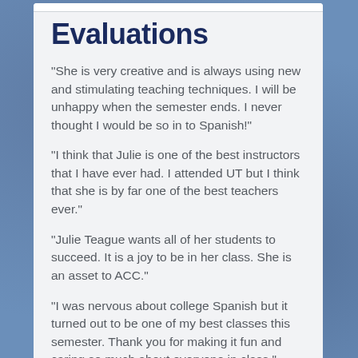Evaluations
“She is very creative and is always using new and stimulating teaching techniques. I will be unhappy when the semester ends. I never thought I would be so in to Spanish!”
“I think that Julie is one of the best instructors that I have ever had. I attended UT but I think that she is by far one of the best teachers ever.”
“Julie Teague wants all of her students to succeed. It is a joy to be in her class. She is an asset to ACC.”
“I was nervous about college Spanish but it turned out to be one of my best classes this semester. Thank you for making it fun and caring so much about everyone in class.”